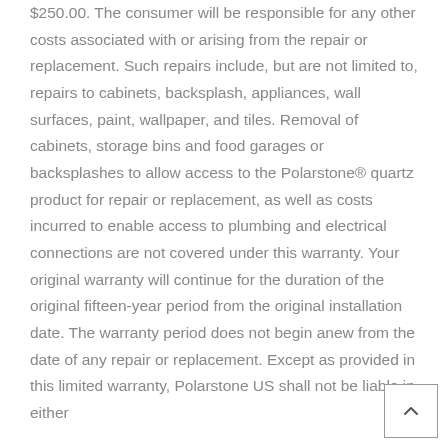$250.00. The consumer will be responsible for any other costs associated with or arising from the repair or replacement. Such repairs include, but are not limited to, repairs to cabinets, backsplash, appliances, wall surfaces, paint, wallpaper, and tiles. Removal of cabinets, storage bins and food garages or backsplashes to allow access to the Polarstone® quartz product for repair or replacement, as well as costs incurred to enable access to plumbing and electrical connections are not covered under this warranty. Your original warranty will continue for the duration of the original fifteen-year period from the original installation date. The warranty period does not begin anew from the date of any repair or replacement. Except as provided in this limited warranty, Polarstone US shall not be liable in either